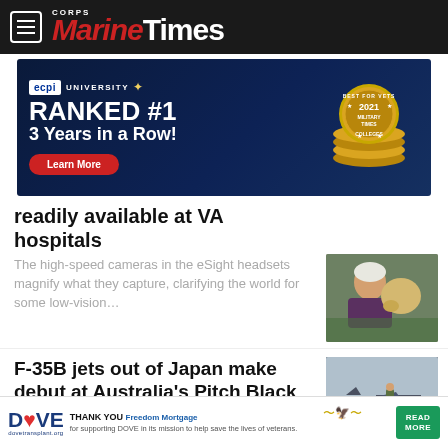Marine Corps Times
[Figure (photo): ECPI University advertisement: Ranked #1 3 Years in a Row! Best for Vets 2021 Military Times Colleges. Learn More button.]
readily available at VA hospitals
The high-speed cameras in the eSight headsets magnify what they capture, clarifying the world for some low-vision…
[Figure (photo): Woman hugging a yellow Labrador dog outdoors]
F-35B jets out of Japan make debut at Australia's Pitch Black exercise
The 12 F-35B fighters were practicing the U.S. Marine Corps' concept known as…
[Figure (photo): F-35B jet on tarmac with crew member]
[Figure (other): DOVE advertisement: Thank you Freedom Mortgage for supporting DOVE in its mission to help save the lives of veterans. Read More button.]